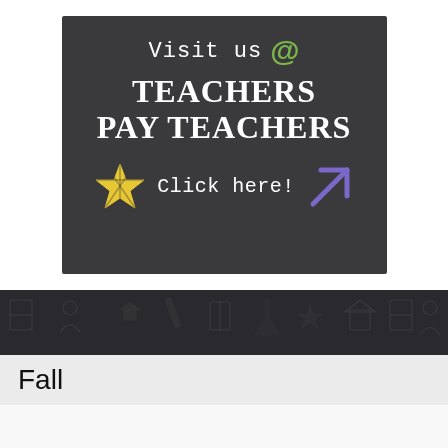[Figure (illustration): Dark banner advertisement for Teachers Pay Teachers website with text 'Visit us @', 'TEACHERS PAY TEACHERS', 'Click here!' with a yellow star and purple arrow on dark background]
Fall